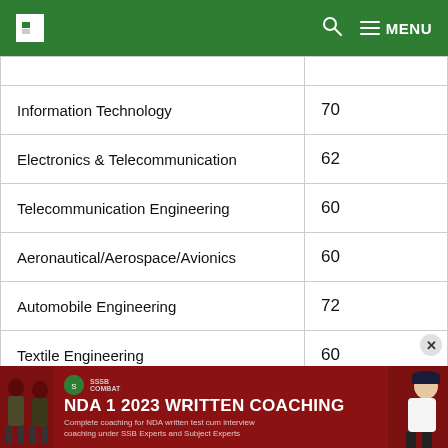MENU
| Information Technology | 70 |
| Electronics & Telecommunication | 62 |
| Telecommunication Engineering | 60 |
| Aeronautical/Aerospace/Avionics | 60 |
| Automobile Engineering | 72 |
| Textile Engineering | 60 |
[Figure (infographic): NDA 1 2023 Written Coaching advertisement banner with military officer figures and red background. Text reads: NDA 1 2023 WRITTEN COACHING - Complete coaching for NDA written test cum interview coaching under SSB Experts and Subject Experts]